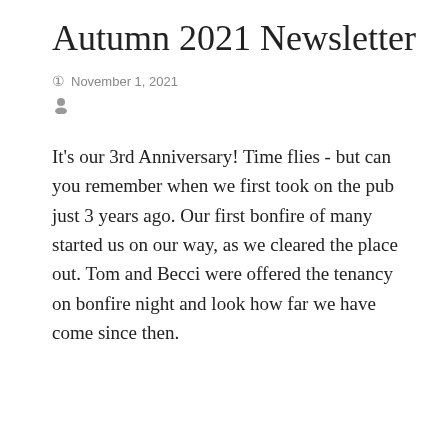Autumn 2021 Newsletter
November 1, 2021
It's our 3rd Anniversary!  Time flies - but can you remember when we first took on the pub just 3 years ago.  Our first bonfire of many started us on our way, as we cleared the place out.  Tom and Becci were offered the tenancy on bonfire night and look how far we have come since then.